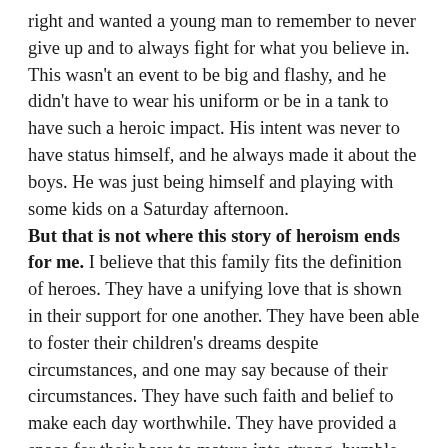right and wanted a young man to remember to never give up and to always fight for what you believe in. This wasn't an event to be big and flashy, and he didn't have to wear his uniform or be in a tank to have such a heroic impact. His intent was never to have status himself, and he always made it about the boys. He was just being himself and playing with some kids on a Saturday afternoon. But that is not where this story of heroism ends for me. I believe that this family fits the definition of heroes. They have a unifying love that is shown in their support for one another. They have been able to foster their children's dreams despite circumstances, and one may say because of their circumstances. They have such faith and belief to make each day worthwhile. They have provided a space for their boys to mature into strong, humble, gracious, and encouraging individuals. As we begin to think about starting our own family, I can only hope that we are able to pass down some of these same qualities. They have been role models to show how a family should be there for one another. They can always...